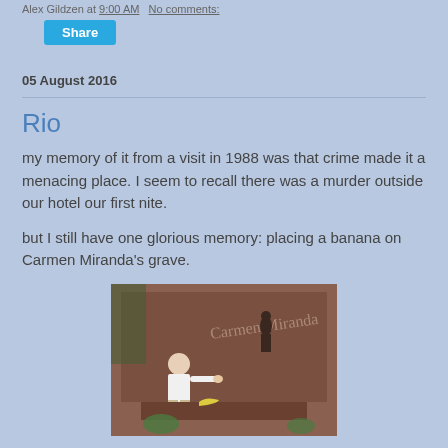Alex Gildzen at 9:00 AM   No comments:
Share
05 August 2016
Rio
my memory of it from a visit in 1988 was that crime made it a menacing place. I seem to recall there was a murder outside our hotel our first nite.
but I still have one glorious memory: placing a banana on Carmen Miranda's grave.
[Figure (photo): A person standing beside Carmen Miranda's grave monument, a large reddish-brown stone structure with her signature engraved on it and a small statue.]